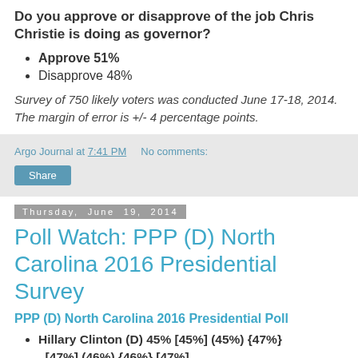Do you approve or disapprove of the job Chris Christie is doing as governor?
Approve 51%
Disapprove 48%
Survey of 750 likely voters was conducted June 17-18, 2014. The margin of error is +/- 4 percentage points.
Argo Journal at 7:41 PM   No comments:
Thursday, June 19, 2014
Poll Watch: PPP (D) North Carolina 2016 Presidential Survey
PPP (D) North Carolina 2016 Presidential Poll
Hillary Clinton (D) 45% [45%] (45%) {47%} [47%] (46%) {46%} [47%]